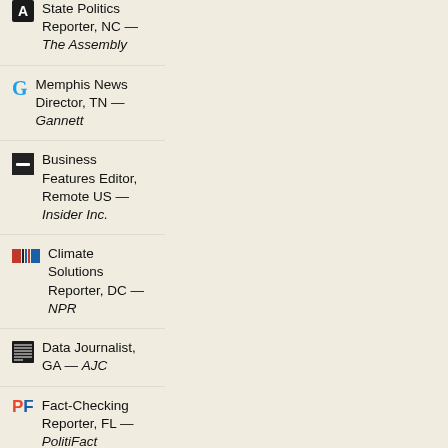State Politics Reporter, NC — The Assembly
Memphis News Director, TN — Gannett
Business Features Editor, Remote US — Insider Inc.
Climate Solutions Reporter, DC — NPR
Data Journalist, GA — AJC
Fact-Checking Reporter, FL — PolitiFact
Commerce Writer, NY — Engadget
Senior Editor - Global, NY or DC — The Atlantic
Politics Editor...